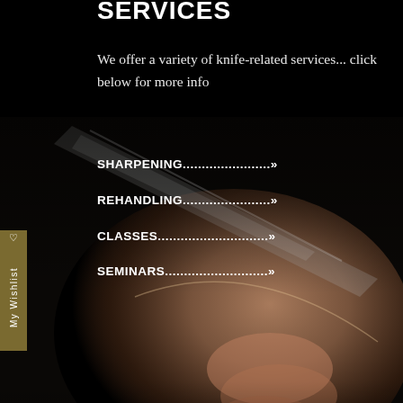SERVICES
We offer a variety of knife-related services... click below for more info
SHARPENING.......................»
REHANDLING.......................»
CLASSES.............................»
SEMINARS...........................»
[Figure (photo): Close-up photo of hands holding a knife blade against a dark background]
ABOUT KNIVES
Just as with many other traditional and cultural products in Japan,
Japanese knives offer simple, yet sophisticated beauty and quality to their users. It can take some time to learn how to